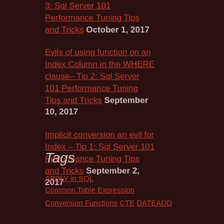3: Sql Server 101 Performance Tuning Tips and Tricks October 1, 2017
Evils of using function on an Index Column in the WHERE clause– Tip 2: Sql Server 101 Performance Tuning Tips and Tricks September 10, 2017
Implicit conversion an evil for Index – Tip 1: Sql Server 101 Performance Tuning Tips and Tricks September 2, 2017
Tags
APPLY in SQL
Common Table Expression
Conversion Functions CTE DATEADD